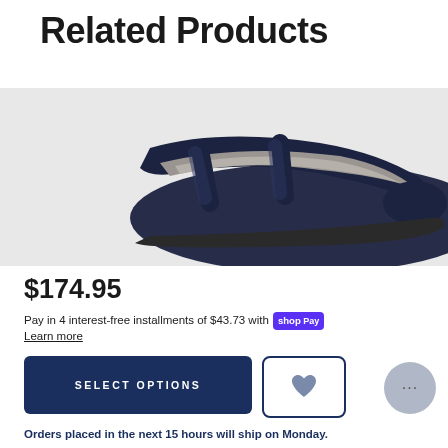Related Products
[Figure (photo): Close-up photo of a dark navy/black shoe or sandal with gray suede interior lining, shot from an angle showing the strap and footbed]
$174.95
Pay in 4 interest-free installments of $43.73 with shop Pay
Learn more
SELECT OPTIONS
Orders placed in the next 15 hours will ship on Monday.